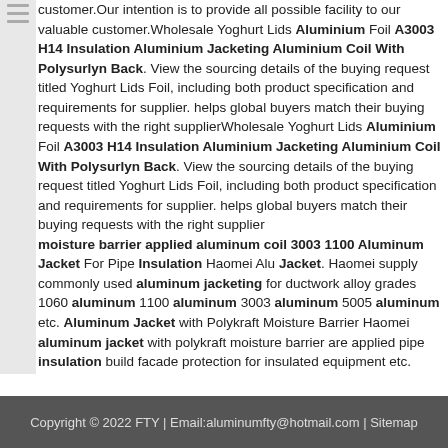customer.Our intention is to provide all possible facility to our valuable customer.Wholesale Yoghurt Lids Aluminium Foil A3003 H14 Insulation Aluminium Jacketing Aluminium Coil With Polysurlyn Back. View the sourcing details of the buying request titled Yoghurt Lids Foil, including both product specification and requirements for supplier. helps global buyers match their buying requests with the right supplierWholesale Yoghurt Lids Aluminium Foil A3003 H14 Insulation Aluminium Jacketing Aluminium Coil With Polysurlyn Back. View the sourcing details of the buying request titled Yoghurt Lids Foil, including both product specification and requirements for supplier. helps global buyers match their buying requests with the right supplier moisture barrier applied aluminum coil 3003 1100 Aluminum Jacket For Pipe Insulation Haomei Alu Jacket. Haomei supply commonly used aluminum jacketing for ductwork alloy grades 1060 aluminum 1100 aluminum 3003 aluminum 5005 aluminum etc. Aluminum Jacket with Polykraft Moisture Barrier Haomei aluminum jacket with polykraft moisture barrier are applied pipe insulation build facade protection for insulated equipment etc.
Copyright © 2022 FTY | Email:aluminumfty@hotmail.com | Sitemap